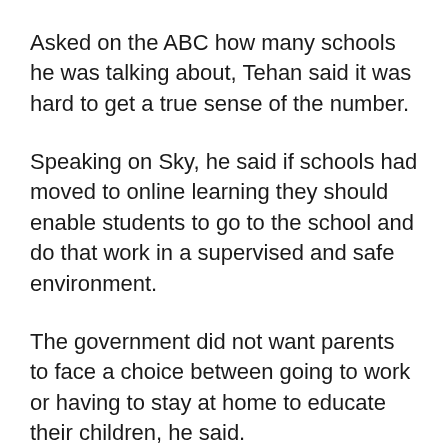Asked on the ABC how many schools he was talking about, Tehan said it was hard to get a true sense of the number.
Speaking on Sky, he said if schools had moved to online learning they should enable students to go to the school and do that work in a supervised and safe environment.
The government did not want parents to face a choice between going to work or having to stay at home to educate their children, he said.
While the states run government schools, the federal government provides funding to independent schools and the Catholic sector.